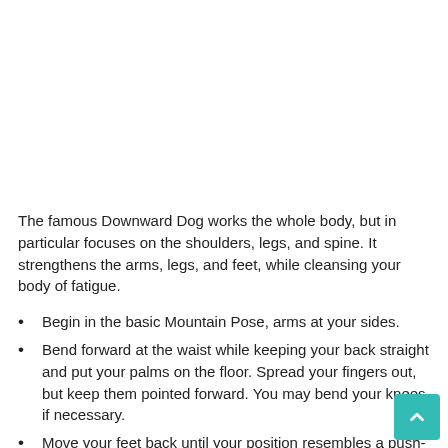The famous Downward Dog works the whole body, but in particular focuses on the shoulders, legs, and spine. It strengthens the arms, legs, and feet, while cleansing your body of fatigue.
Begin in the basic Mountain Pose, arms at your sides.
Bend forward at the waist while keeping your back straight and put your palms on the floor. Spread your fingers out, but keep them pointed forward. You may bend your knees if necessary.
Move your feet back until your position resembles a push-up at full height. At this point, your hand should be directly below your shoulder.